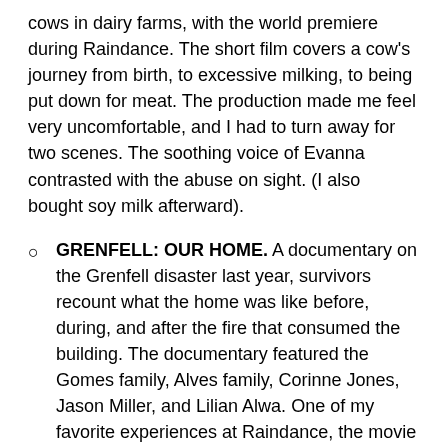cows in dairy farms, with the world premiere during Raindance. The short film covers a cow's journey from birth, to excessive milking, to being put down for meat. The production made me feel very uncomfortable, and I had to turn away for two scenes. The soothing voice of Evanna contrasted with the abuse on sight. (I also bought soy milk afterward).
GRENFELL: OUR HOME. A documentary on the Grenfell disaster last year, survivors recount what the home was like before, during, and after the fire that consumed the building. The documentary featured the Gomes family, Alves family, Corinne Jones, Jason Miller, and Lilian Alwa. One of my favorite experiences at Raindance, the movie gives an arresting insight coupled with stunning visuals, sombre music, and a respectful insight into the disaster.
THIS IS PROGRESS VR. Previously showcased at the Inception / Kaleidescope Online Film Festival, this is a series on Progress wresting, a British professional